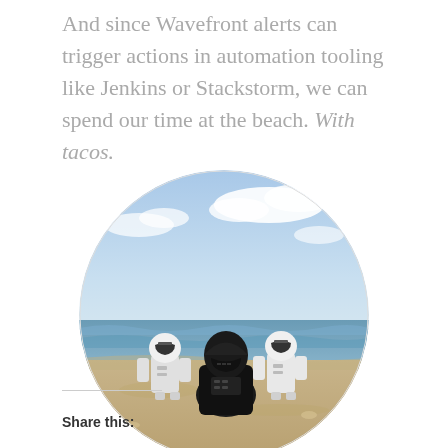And since Wavefront alerts can trigger actions in automation tooling like Jenkins or Stackstorm, we can spend our time at the beach. With tacos.
[Figure (photo): Circular photo of three LEGO Star Wars figures (two Stormtroopers and Darth Vader) sitting on a sandy beach looking out at the ocean under a blue sky with clouds.]
Share this: